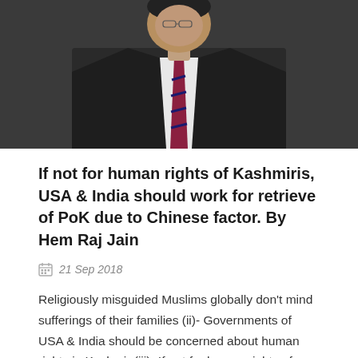[Figure (photo): Portrait photograph of a man in a dark suit with a striped tie, cropped at the upper body, shown from roughly chest up against a dark background.]
If not for human rights of Kashmiris, USA & India should work for retrieve of PoK due to Chinese factor. By Hem Raj Jain
21 Sep 2018
Religiously misguided Muslims globally don't mind sufferings of their families (ii)- Governments of USA & India should be concerned about human rights in Kashmir (iii)- If not for human rights of Kashmiris, USA & India should work at-least for retrieve of PoK out of concern about presence of Chi...